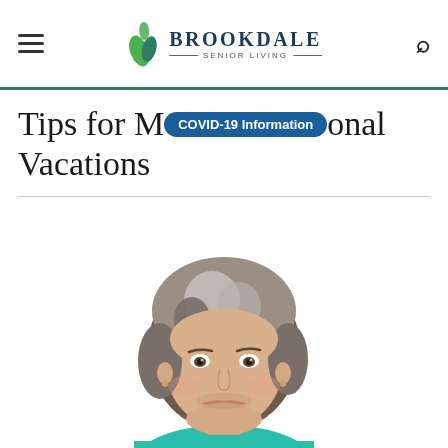Brookdale Senior Living
Tips for M[COVID-19 Information]onal Vacations
[Figure (photo): Smiling middle-aged woman with gray-streaked short hair wearing a teal top, professional headshot on white background]